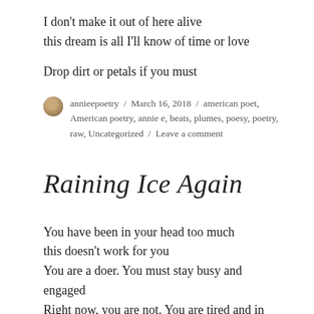I don't make it out of here alive
this dream is all I'll know of time or love
Drop dirt or petals if you must
annieepoetry / March 16, 2018 / american poet, American poetry, annie e, beats, plumes, poesy, poetry, raw, Uncategorized / Leave a comment
Raining Ice Again
You have been in your head too much
this doesn't work for you
You are a doer. You must stay busy and engaged
Right now, you are not. You are tired and in